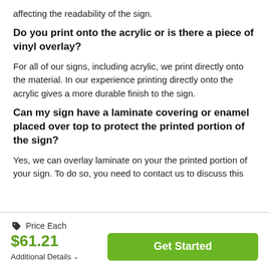affecting the readability of the sign.
Do you print onto the acrylic or is there a piece of vinyl overlay?
For all of our signs, including acrylic, we print directly onto the material. In our experience printing directly onto the acrylic gives a more durable finish to the sign.
Can my sign have a laminate covering or enamel placed over top to protect the printed portion of the sign?
Yes, we can overlay laminate on your the printed portion of your sign. To do so, you need to contact us to discuss this
Price Each
$61.21
Get Started
Additional Details